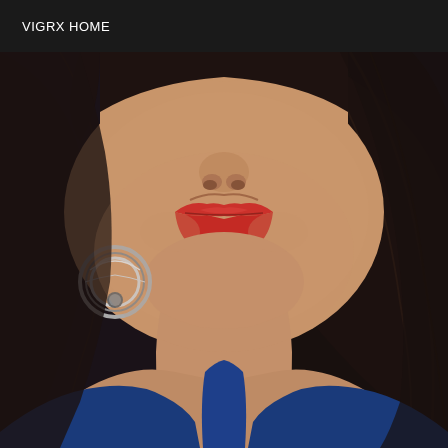VIGRX HOME
[Figure (photo): Close-up selfie photo of a woman with dark hair, wearing silver hoop earrings and red lipstick, dressed in a blue top. The photo is cropped to show her lower face, neck, and upper chest area against a dark background.]